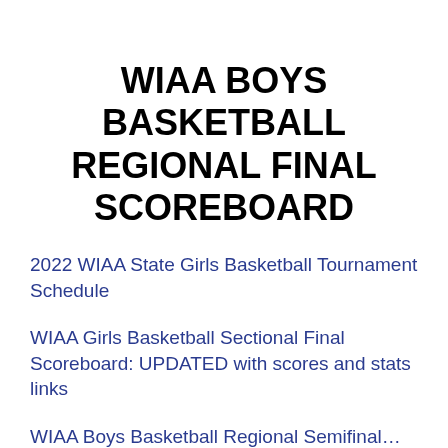WIAA BOYS BASKETBALL REGIONAL FINAL SCOREBOARD
2022 WIAA State Girls Basketball Tournament Schedule
WIAA Girls Basketball Sectional Final Scoreboard: UPDATED with scores and stats links
WIAA Boys Basketball Regional Semifinal…